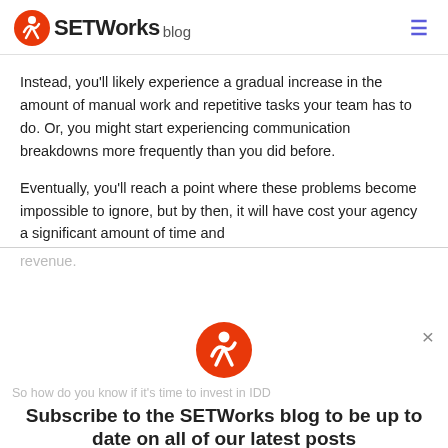SETWorks blog
Instead, you'll likely experience a gradual increase in the amount of manual work and repetitive tasks your team has to do. Or, you might start experiencing communication breakdowns more frequently than you did before.
Eventually, you'll reach a point where these problems become impossible to ignore, but by then, it will have cost your agency a significant amount of time and revenue.
So how do you know if it's time to invest in IDD
Subscribe to the SETWorks blog to be up to date on all of our latest posts
see from agency software alternatives before a major upgrade: